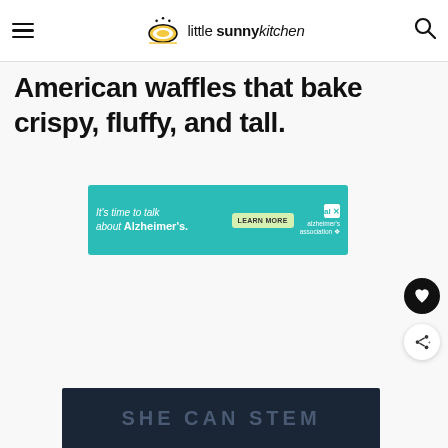little sunny kitchen
American waffles that bake crispy, fluffy, and tall.
[Figure (other): Advertisement banner for Alzheimer's Association: 'It's time to talk about Alzheimer's.' with a LEARN MORE button and Alzheimer's Association logo.]
[Figure (other): Dark navy panel with text 'SHE CAN STEM' in large gray uppercase letters.]